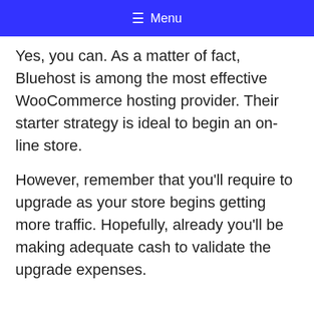☰ Menu
Yes, you can. As a matter of fact, Bluehost is among the most effective WooCommerce hosting provider. Their starter strategy is ideal to begin an on-line store.
However, remember that you'll require to upgrade as your store begins getting more traffic. Hopefully, already you'll be making adequate cash to validate the upgrade expenses.